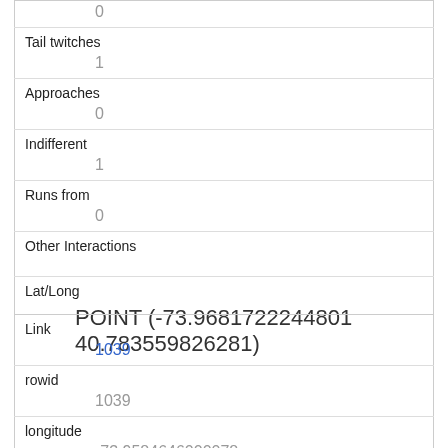| 0 |
| Tail twitches | 1 |
| Approaches | 0 |
| Indifferent | 1 |
| Runs from | 0 |
| Other Interactions |  |
| Lat/Long | POINT (-73.9681722244801 40.783559826281) |
| Link | 1039 |
| rowid | 1039 |
| longitude | -73.9584646000078 |
| latitude |  |